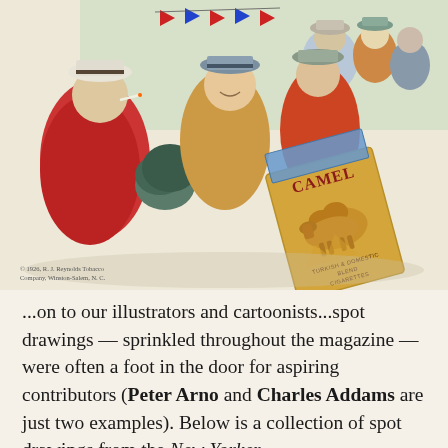[Figure (illustration): Vintage Camel cigarettes advertisement illustration showing a crowd of people at what appears to be a sporting event or gathering, wearing hats and colorful clothing. A Camel cigarette pack is prominently displayed in the lower right of the illustration. Copyright notice reads: © 1926, R. J. Reynolds Tobacco Company, Winston-Salem, N. C.]
...on to our illustrators and cartoonists...spot drawings — sprinkled throughout the magazine — were often a foot in the door for aspiring contributors (Peter Arno and Charles Addams are just two examples). Below is a collection of spot drawings from the New Yorker...